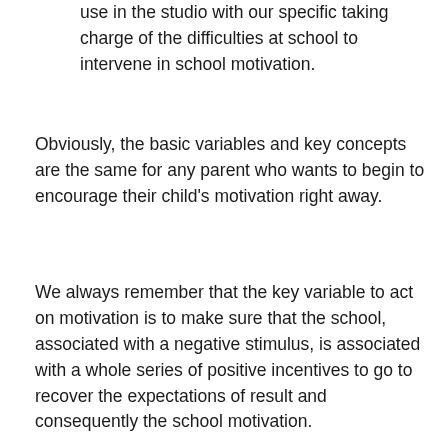use in the studio with our specific taking charge of the difficulties at school to intervene in school motivation.
Obviously, the basic variables and key concepts are the same for any parent who wants to begin to encourage their child's motivation right away.
We always remember that the key variable to act on motivation is to make sure that the school, associated with a negative stimulus, is associated with a whole series of positive incentives to go to recover the expectations of result and consequently the school motivation.